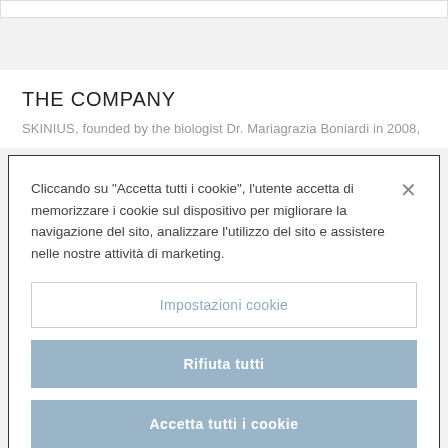[Figure (screenshot): Top white navigation bar cropped at top of page]
THE COMPANY
SKINIUS, founded by the biologist Dr. Mariagrazia Boniardi in 2008,
Cliccando su “Accetta tutti i cookie”, l’utente accetta di memorizzare i cookie sul dispositivo per migliorare la navigazione del sito, analizzare l'utilizzo del sito e assistere nelle nostre attività di marketing.
Impostazioni cookie
Rifiuta tutti
Accetta tutti i cookie